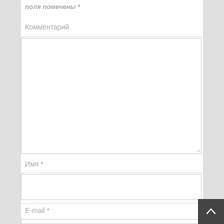поля помечены *
Комментарий
[Figure (screenshot): Large empty textarea input box for comment entry with resize handle at bottom right]
Имя *
[Figure (screenshot): Single-line text input box for name]
E-mail *
[Figure (screenshot): Single-line text input box for email, partially visible at bottom of page]
[Figure (other): Back to top button — dark grey square with upward chevron arrow icon]